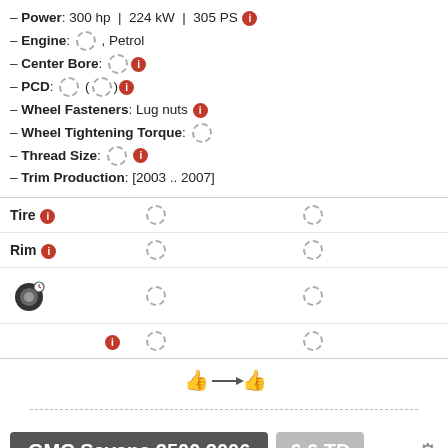– Power: 300 hp | 224 kW | 305 PS
– Engine: [spinner], Petrol
– Center Bore: [spinner] [info]
– PCD: [spinner] ([spinner]) [info]
– Wheel Fasteners: Lug nuts [info]
– Wheel Tightening Torque: [spinner]
– Thread Size: [spinner] [info]
– Trim Production: [2003 .. 2007]
|  |  |  |
| --- | --- | --- |
| Tire [info] | [spinner] | [spinner] |
| Rim [info] | [spinner] | [spinner] |
| [tire icon] | [spinner] | [spinner] |
| [info] | [spinner] | [spinner] |
[Figure (other): Tyre size comparison arrows icon]
GMC Savana 2500 2006   6.6 TD
– Generation: GMT610 [2003 .. 2023]
– Power: 300 hp | 194 kW | 304 PS